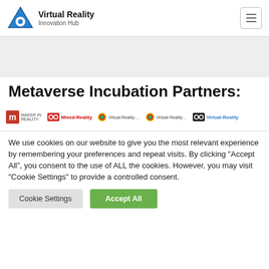Virtual Reality Innovation Hub
[Figure (illustration): Grey hero/banner area at top of page]
Metaverse Incubation Partners:
[Figure (logo): Row of partner logos: Mixed-Reality and Virtual-Reality branded logos]
We use cookies on our website to give you the most relevant experience by remembering your preferences and repeat visits. By clicking “Accept All”, you consent to the use of ALL the cookies. However, you may visit "Cookie Settings" to provide a controlled consent.